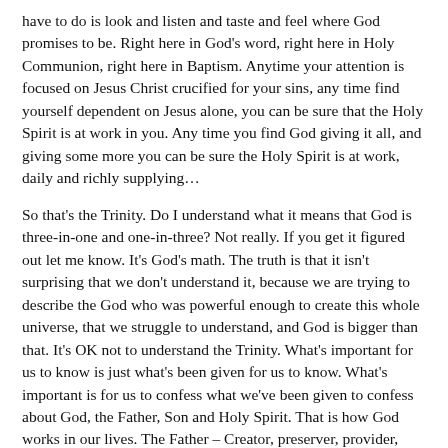have to do is look and listen and taste and feel where God promises to be. Right here in God's word, right here in Holy Communion, right here in Baptism. Anytime your attention is focused on Jesus Christ crucified for your sins, any time find yourself dependent on Jesus alone, you can be sure that the Holy Spirit is at work in you. Any time you find God giving it all, and giving some more you can be sure the Holy Spirit is at work, daily and richly supplying…
So that's the Trinity. Do I understand what it means that God is three-in-one and one-in-three? Not really. If you get it figured out let me know. It's God's math. The truth is that it isn't surprising that we don't understand it, because we are trying to describe the God who was powerful enough to create this whole universe, that we struggle to understand, and God is bigger than that. It's OK not to understand the Trinity. What's important for us to know is just what's been given for us to know. What's important is for us to confess what we've been given to confess about God, the Father, Son and Holy Spirit. That is how God works in our lives. The Father – Creator, preserver, provider, protector; the Son, Jesus – Savior, the Holy Spirit – Faith giver. Amen.
The peace of God that passes all understanding, keep your hearts and minds in Christ Jesus. Amen.